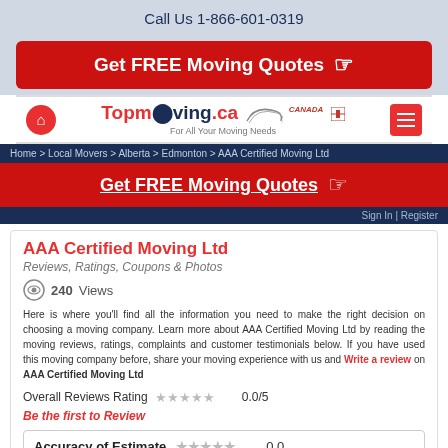Call Us  1-866-601-0319
Get FREE Moving Quotes
[Figure (logo): Topmoving.ca logo with tagline For All Your Moving Needs and Canada flag icon]
Home > Local Movers > Alberta > Edmonton > AAA Certified Moving Ltd
Get FREE Moving Quotes
Sign In | Register
AAA Certified Moving Ltd
Reviews, Ratings, Coupons & Photos
240 Views
Here is where you'll find all the information you need to make the right decision on choosing a moving company. Learn more about AAA Certified Moving Ltd by reading the moving reviews, ratings, complaints and customer testimonials below. If you have used this moving company before, share your moving experience with us and Write a review on AAA Certified Moving Ltd
Overall Reviews Rating  0.0/5
Be the first to Review
Accuracy of Estimate  0.0